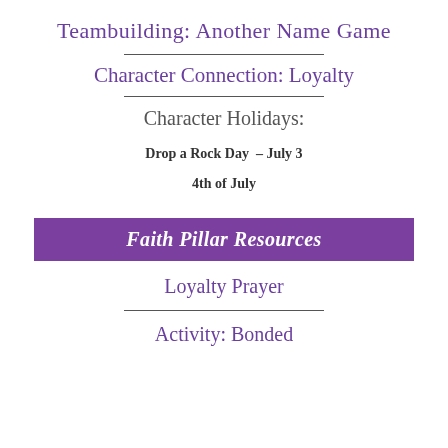Teambuilding: Another Name Game
Character Connection: Loyalty
Character Holidays:
Drop a Rock Day  – July 3
4th of July
Faith Pillar Resources
Loyalty Prayer
Activity: Bonded